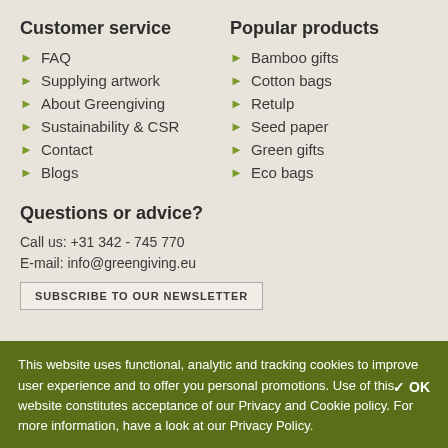Customer service
FAQ
Supplying artwork
About Greengiving
Sustainability & CSR
Contact
Blogs
Popular products
Bamboo gifts
Cotton bags
Retulp
Seed paper
Green gifts
Eco bags
Questions or advice?
Call us: +31 342 - 745 770
E-mail: info@greengiving.eu
SUBSCRIBE TO OUR NEWSLETTER
This website uses functional, analytic and tracking cookies to improve user experience and to offer you personal promotions. Use of this website constitutes acceptance of our Privacy and Cookie policy. For more information, have a look at our Privacy Policy.